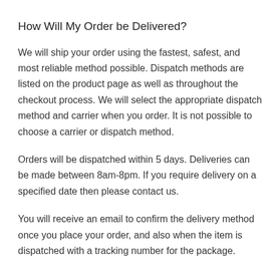How Will My Order be Delivered?
We will ship your order using the fastest, safest, and most reliable method possible. Dispatch methods are listed on the product page as well as throughout the checkout process. We will select the appropriate dispatch method and carrier when you order. It is not possible to choose a carrier or dispatch method.
Orders will be dispatched within 5 days. Deliveries can be made between 8am-8pm. If you require delivery on a specified date then please contact us.
You will receive an email to confirm the delivery method once you place your order, and also when the item is dispatched with a tracking number for the package.